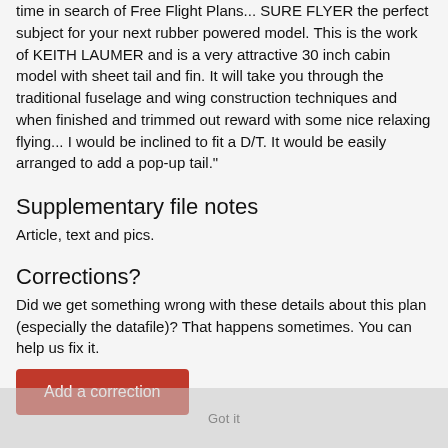time in search of Free Flight Plans... SURE FLYER the perfect subject for your next rubber powered model. This is the work of KEITH LAUMER and is a very attractive 30 inch cabin model with sheet tail and fin. It will take you through the traditional fuselage and wing construction techniques and when finished and trimmed out reward with some nice relaxing flying... I would be inclined to fit a D/T. It would be easily arranged to add a pop-up tail."
Supplementary file notes
Article, text and pics.
Corrections?
Did we get something wrong with these details about this plan (especially the datafile)? That happens sometimes. You can help us fix it.
Add a correction